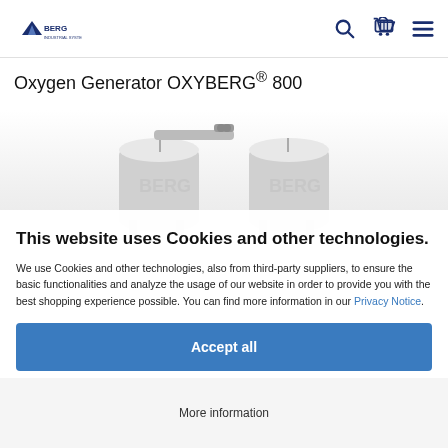BERG logo with navigation icons (search, cart, menu)
Oxygen Generator OXYBERG® 800
[Figure (photo): Oxygen generator unit OXYBERG 800 - two cylindrical tanks with piping on top, shown from front, light grey/white color]
This website uses Cookies and other technologies.
We use Cookies and other technologies, also from third-party suppliers, to ensure the basic functionalities and analyze the usage of our website in order to provide you with the best shopping experience possible. You can find more information in our Privacy Notice.
Accept all
More information